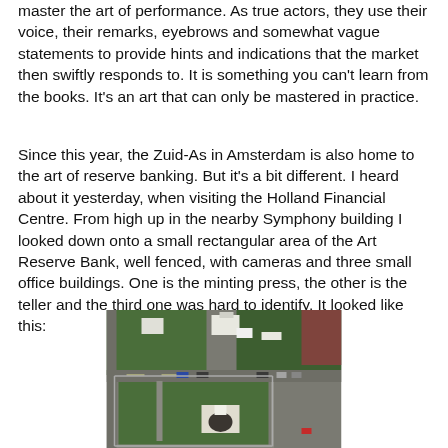master the art of performance. As true actors, they use their voice, their remarks, eyebrows and somewhat vague statements to provide hints and indications that the market then swiftly responds to. It is something you can't learn from the books. It's an art that can only be mastered in practice.
Since this year, the Zuid-As in Amsterdam is also home to the art of reserve banking. But it's a bit different. I heard about it yesterday, when visiting the Holland Financial Centre. From high up in the nearby Symphony building I looked down onto a small rectangular area of the Art Reserve Bank, well fenced, with cameras and three small office buildings. One is the minting press, the other is the teller and the third one was hard to identify. It looked like this:
[Figure (photo): Aerial view looking down onto a small rectangular fenced area of the Art Reserve Bank at Zuid-As Amsterdam, showing green grass, paved paths, small buildings/structures including what appears to be a minting press and teller office, cars parked nearby, and surrounding roads.]